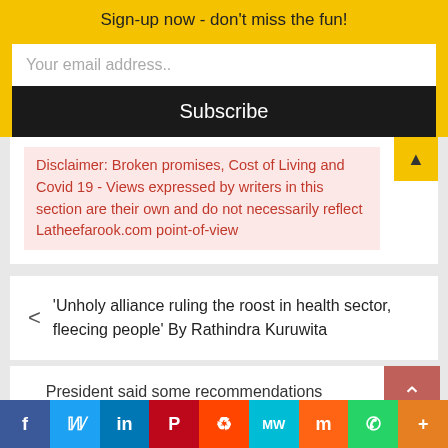Sign-up now - don't miss the fun!
Your email address..
Subscribe
Disclaimer: Broken promises, Cost of Living and Covid 19 - Views expressed by writers in this section are their own and do not necessarily reflect Latheefarook.com point-of-view
'Unholy alliance ruling the roost in health sector, fleecing people' By Rathindra Kuruwita
President said some recommendations cannot be implemented – Cardi